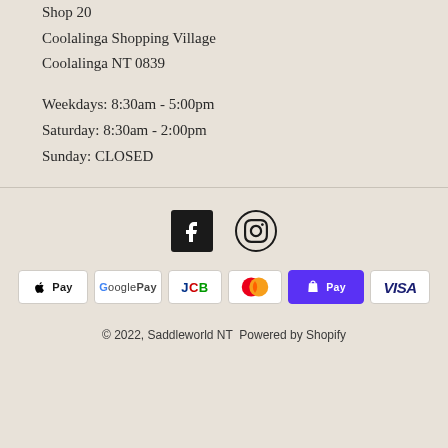Shop 20
Coolalinga Shopping Village
Coolalinga NT 0839
Weekdays: 8:30am - 5:00pm
Saturday: 8:30am - 2:00pm
Sunday: CLOSED
[Figure (infographic): Facebook and Instagram social media icons]
[Figure (infographic): Payment method badges: Apple Pay, Google Pay, JCB, Mastercard, ShopPay, Visa]
© 2022, Saddleworld NT  Powered by Shopify